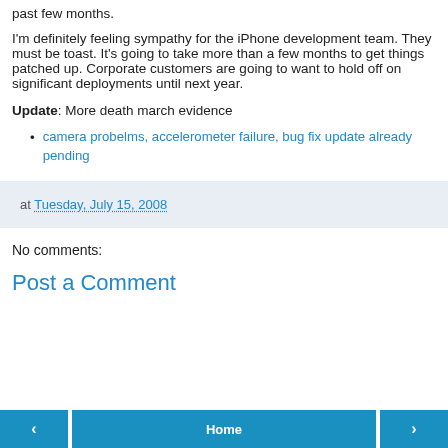past few months.
I'm definitely feeling sympathy for the iPhone development team. They must be toast. It's going to take more than a few months to get things patched up. Corporate customers are going to want to hold off on significant deployments until next year.
Update: More death march evidence
camera probelms, accelerometer failure, bug fix update already pending
at Tuesday, July 15, 2008
No comments:
Post a Comment